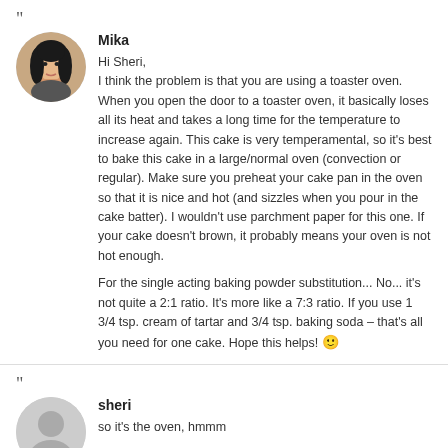"
Mika
Hi Sheri,
I think the problem is that you are using a toaster oven. When you open the door to a toaster oven, it basically loses all its heat and takes a long time for the temperature to increase again. This cake is very temperamental, so it's best to bake this cake in a large/normal oven (convection or regular). Make sure you preheat your cake pan in the oven so that it is nice and hot (and sizzles when you pour in the cake batter). I wouldn't use parchment paper for this one. If your cake doesn't brown, it probably means your oven is not hot enough.

For the single acting baking powder substitution... No... it's not quite a 2:1 ratio. It's more like a 7:3 ratio. If you use 1 3/4 tsp. cream of tartar and 3/4 tsp. baking soda – that's all you need for one cake. Hope this helps! 🙂
"
sheri
so it's the oven, hmmm